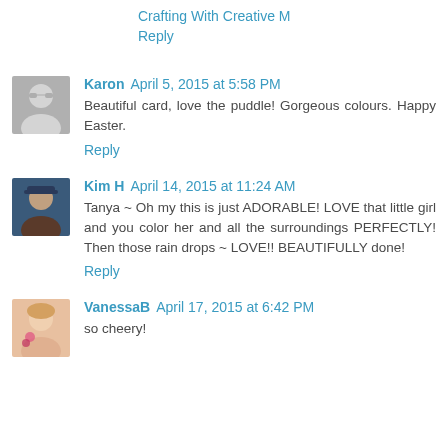Crafting With Creative M
Reply
Karon April 5, 2015 at 5:58 PM
Beautiful card, love the puddle! Gorgeous colours. Happy Easter.
Reply
Kim H April 14, 2015 at 11:24 AM
Tanya ~ Oh my this is just ADORABLE! LOVE that little girl and you color her and all the surroundings PERFECTLY! Then those rain drops ~ LOVE!! BEAUTIFULLY done!
Reply
VanessaB April 17, 2015 at 6:42 PM
so cheery!